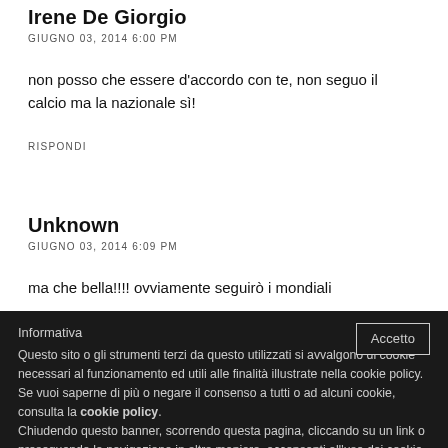Irene De Giorgio
GIUGNO 03, 2014 6:00 PM
non posso che essere d'accordo con te, non seguo il calcio ma la nazionale sì!
RISPONDI
Unknown
GIUGNO 03, 2014 6:09 PM
ma che bella!!!! ovviamente seguirò i mondiali
Informativa
Questo sito o gli strumenti terzi da questo utilizzati si avvalgono di cookie necessari al funzionamento ed utili alle finalità illustrate nella cookie policy. Se vuoi saperne di più o negare il consenso a tutti o ad alcuni cookie, consulta la cookie policy.
Chiudendo questo banner, scorrendo questa pagina, cliccando su un link o proseguendo la navigazione in altra maniera, acconsenti all'uso dei cookie.
Accetto